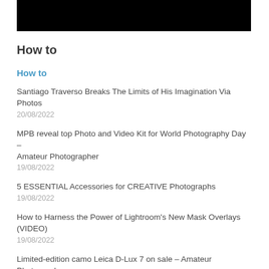[Figure (other): Black rectangular banner/header bar at the top of the page]
How to
How to
Santiago Traverso Breaks The Limits of His Imagination Via Photos
20/08/2022
MPB reveal top Photo and Video Kit for World Photography Day – Amateur Photographer
19/08/2022
5 ESSENTIAL Accessories for CREATIVE Photographs
19/08/2022
How to Harness the Power of Lightroom's New Mask Overlays (VIDEO)
19/08/2022
Limited-edition camo Leica D-Lux 7 on sale – Amateur Photographer
18/08/2022